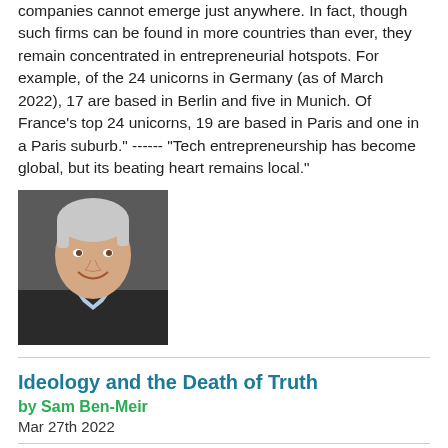companies cannot emerge just anywhere. In fact, though such firms can be found in more countries than ever, they remain concentrated in entrepreneurial hotspots. For example, of the 24 unicorns in Germany (as of March 2022), 17 are based in Berlin and five in Munich. Of France's top 24 unicorns, 19 are based in Paris and one in a Paris suburb." ------ "Tech entrepreneurship has become global, but its beating heart remains local."
[Figure (photo): Headshot of a smiling older man with gray hair, wearing a dark suit jacket and light blue shirt, photographed against a dark background.]
Ideology and the Death of Truth
by Sam Ben-Meir
Mar 27th 2022
EXTRACTS: " We are supposed to be living in a post-ideological era, where everyone one is a cynic, not so gullible as to believe in anything anymore